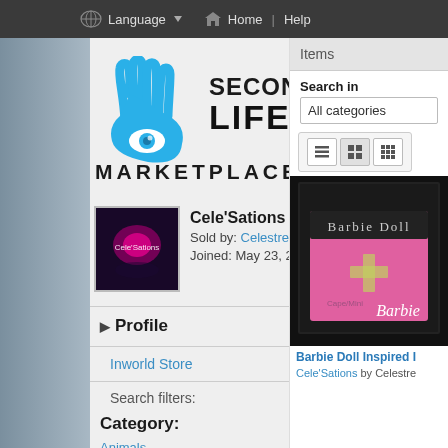Language  Home | Help
[Figure (logo): Second Life Marketplace logo — hand with eye icon in blue, SECOND LIFE in bold black, MARKETPLACE in bold black below]
Cele'Sations
Sold by: Celestrea Vasiliov
Joined: May 23, 2010
▶ Profile
Inworld Store
Search filters:
Category:
Animals  3
Apparel  144
Avatar Accessories  94
Avatar Components  6
Items
Search in
All categories
[Figure (screenshot): View toggle buttons: list view, medium grid, small grid]
[Figure (photo): Product thumbnail: Barbie Doll Inspired item, pink box on black background with 'Barbie Doll' text at top]
Barbie Doll Inspired I
Cele'Sations by Celestre